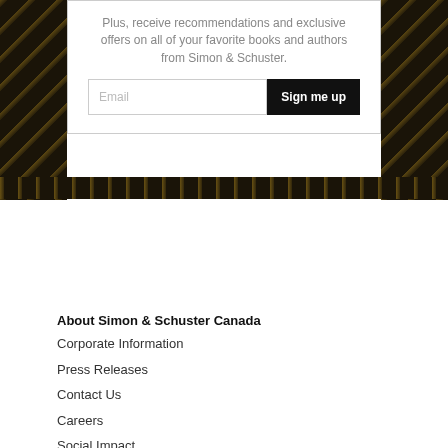[Figure (screenshot): Email sign-up widget with decorative black and gold marbled border. Contains text 'Plus, receive recommendations and exclusive offers on all of your favorite books and authors from Simon & Schuster.' with an email input field and 'Sign me up' button.]
Plus, receive recommendations and exclusive offers on all of your favorite books and authors from Simon & Schuster.
About Simon & Schuster Canada
Corporate Information
Press Releases
Contact Us
Careers
Social Impact